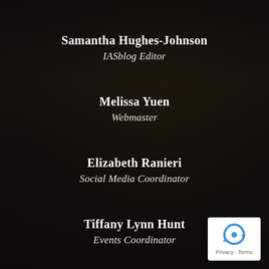Samantha Hughes-Johnson
IASblog Editor
Melissa Yuen
Webmaster
Elizabeth Ranieri
Social Media Coordinator
Tiffany Lynn Hunt
Events Coordinator
[Figure (logo): reCAPTCHA badge with Privacy and Terms links]